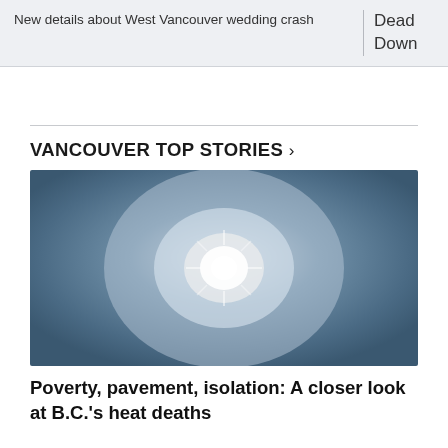New details about West Vancouver wedding crash
Dead Down
VANCOUVER TOP STORIES >
[Figure (photo): Photo of the sun shining brightly in a hazy blue sky, viewed from below]
Poverty, pavement, isolation: A closer look at B.C.'s heat deaths